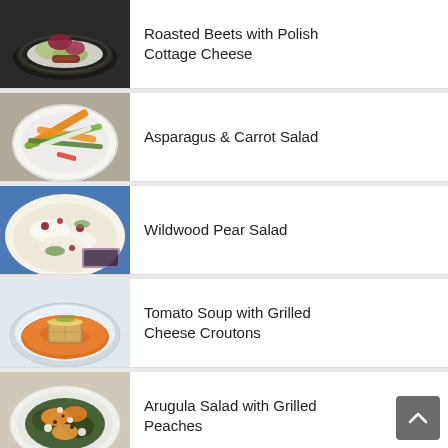Roasted Beets with Polish Cottage Cheese
Asparagus & Carrot Salad
Wildwood Pear Salad
Tomato Soup with Grilled Cheese Croutons
Arugula Salad with Grilled Peaches